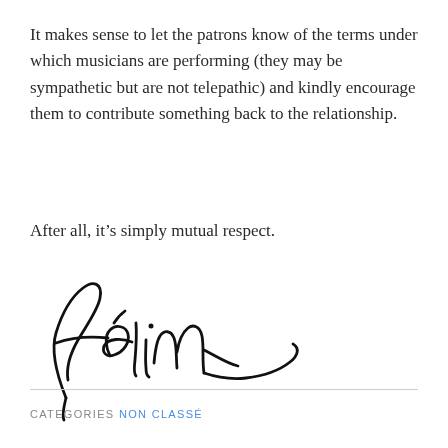It makes sense to let the patrons know of the terms under which musicians are performing (they may be sympathetic but are not telepathic) and kindly encourage them to contribute something back to the relationship.
After all, it’s simply mutual respect.
[Figure (illustration): Handwritten cursive signature reading ‘Félix’ in black ink]
CATEGORIES NON CLASSÉ